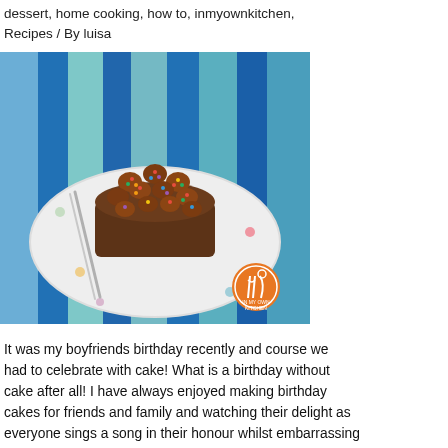dessert, home cooking, how to, inmyownkitchen, Recipes / By luisa
[Figure (photo): A decorated chocolate birthday cake on a polka-dot plate, covered with piped chocolate rosettes topped with colorful sprinkles, placed on a striped blue fabric background. A silver fork rests on the plate. An orange circular logo/watermark is visible in the lower right of the image.]
It was my boyfriends birthday recently and course we had to celebrate with cake! What is a birthday without cake after all! I have always enjoyed making birthday cakes for friends and family and watching their delight as everyone sings a song in their honour whilst embarrassing them with how off tune it all is. These days birthday cakes know no bounds as flights of fancy in icing, have seen the